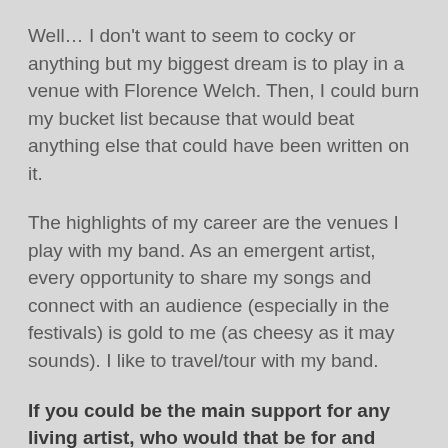Well… I don't want to seem to cocky or anything but my biggest dream is to play in a venue with Florence Welch. Then, I could burn my bucket list because that would beat anything else that could have been written on it.
The highlights of my career are the venues I play with my band. As an emergent artist, every opportunity to share my songs and connect with an audience (especially in the festivals) is gold to me (as cheesy as it may sounds). I like to travel/tour with my band.
If you could be the main support for any living artist, who would that be for and why? Alternatively, what would be your dream live booking?